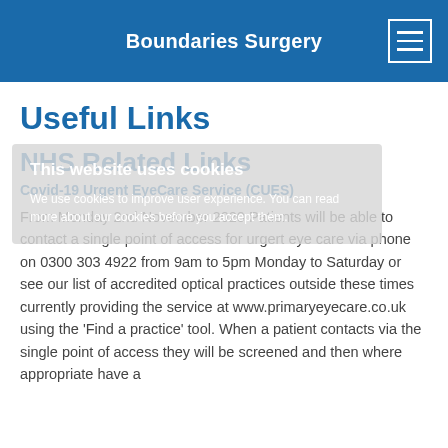Boundaries Surgery
Useful Links
This website uses cookies

We use cookies to improve user experience. You can read more about our cookies before you accept them.
NHS Related Links
Covid-19 Urgent EyeCare Service (CUES)
From Monday 2nd November 2020 Patients will be able to contact a single point of access for urgert eye care via phone on 0300 303 4922 from 9am to 5pm Monday to Saturday or see our list of accredited optical practices outside these times currently providing the service at www.primaryeyecare.co.uk using the 'Find a practice' tool. When a patient contacts via the single point of access they will be screened and then where appropriate have a